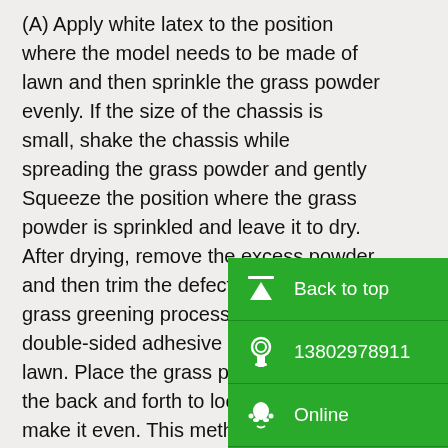(A) Apply white latex to the position where the model needs to be made of lawn and then sprinkle the grass powder evenly. If the size of the chassis is small, shake the chassis while spreading the grass powder and gently Squeeze the position where the grass powder is sprinkled and leave it to dry. After drying, remove the excess powder and then trim the defect to complete the grass greening process. (B) Apply the double-sided adhesive to make the lawn. Place the grass powder then use the back and forth to loosen powder to make it even. This method better.

    (2) Trees: Trees are an important greening of the scene model. Trees architectural models have a basic
[Figure (infographic): Green sidebar with Back to top button (arrow up icon), phone number 13802978911, Online button (QQ icon), WeChat button (QR code icon), and a QR code image at the bottom.]